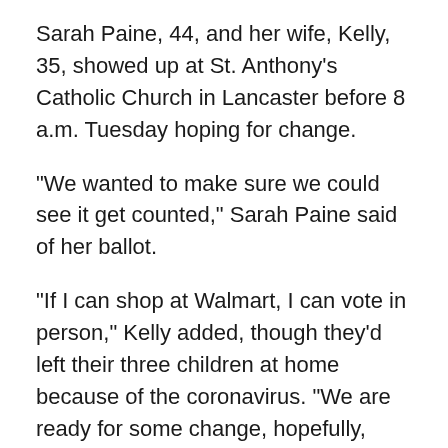Sarah Paine, 44, and her wife, Kelly, 35, showed up at St. Anthony's Catholic Church in Lancaster before 8 a.m. Tuesday hoping for change.
“We wanted to make sure we could see it get counted,” Sarah Paine said of her ballot.
“If I can shop at Walmart, I can vote in person,” Kelly added, though they’d left their three children at home because of the coronavirus. “We are ready for some change, hopefully, fingers crossed,” she said.
Neighbors in line, many of whom said they lived within a few blocks and have been voting at St.